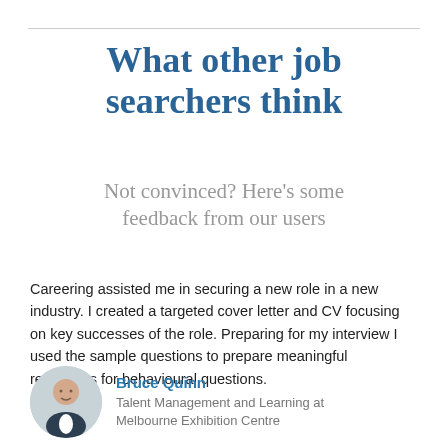What other job searchers think
Not convinced? Here's some feedback from our users
Careering assisted me in securing a new role in a new industry. I created a targeted cover letter and CV focusing on key successes of the role. Preparing for my interview I used the sample questions to prepare meaningful responses for behavioural questions.
[Figure (photo): Circular profile photo of Bruce Quinn, a man in a suit]
Bruce Quinn
Talent Management and Learning at Melbourne Exhibition Centre
I love Careering! It's definitely my cup of tea! I really am enjoying spending time with it so far and have learned a lot. I've put version 2 of my